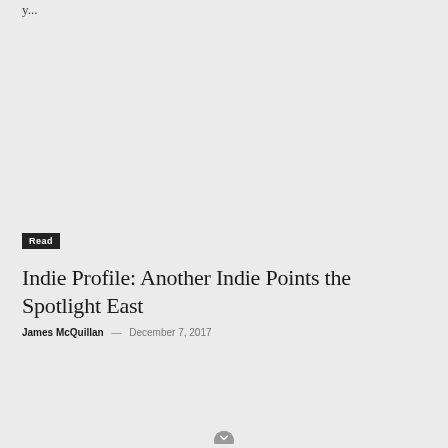y...
Read
Indie Profile: Another Indie Points the Spotlight East
James McQuillan  —  December 7, 2017